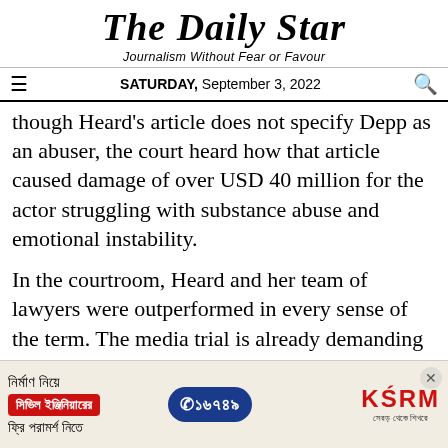The Daily Star
Journalism Without Fear or Favour
SATURDAY, September 3, 2022
though Heard's article does not specify Depp as an abuser, the court heard how that article caused damage of over USD 40 million for the actor struggling with substance abuse and emotional instability.
In the courtroom, Heard and her team of lawyers were outperformed in every sense of the term. The media trial is already demanding that Depp be restored to his iconic Pirates role, and Amber
[Figure (advertisement): KSRM advertisement in Bengali: civil engineering free consultation, phone 16749]